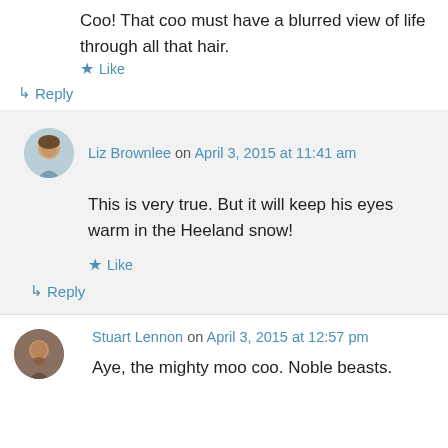Coo! That coo must have a blurred view of life through all that hair.
★ Like
↳ Reply
Liz Brownlee on April 3, 2015 at 11:41 am
This is very true. But it will keep his eyes warm in the Heeland snow!
★ Like
↳ Reply
Stuart Lennon on April 3, 2015 at 12:57 pm
Aye, the mighty moo coo. Noble beasts.